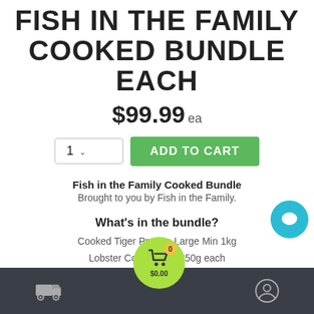FISH IN THE FAMILY COOKED BUNDLE EACH
$99.99 ea
Fish in the Family Cooked Bundle
Brought to you by Fish in the Family.
What's in the bundle?
Cooked Tiger Prawns Large Min 1kg
Lobster Cooked Min 350g each
Sydney Rock Oysters Medium 1 Doz
1 Seafood Sauce
$0.00